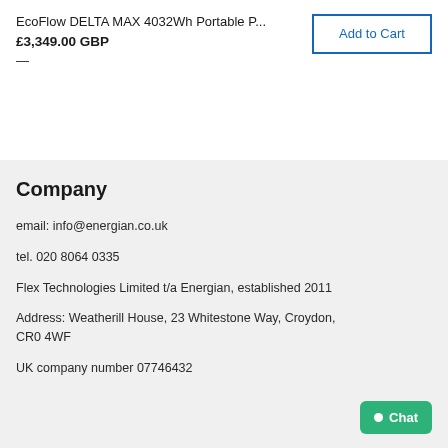EcoFlow DELTA MAX 4032Wh Portable P...
£3,349.00 GBP
—
Add to Cart
Company
email: info@energian.co.uk
tel. 020 8064 0335
Flex Technologies Limited t/a Energian, established 2011
Address: Weatherill House, 23 Whitestone Way, Croydon, CR0 4WF
UK company number 07746432
Chat